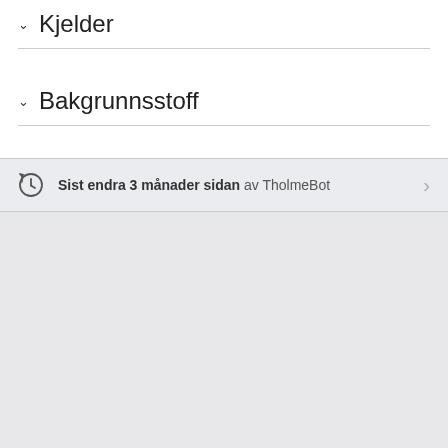Kjelder
Bakgrunnsstoff
Sist endra 3 månader sidan av TholmeBot